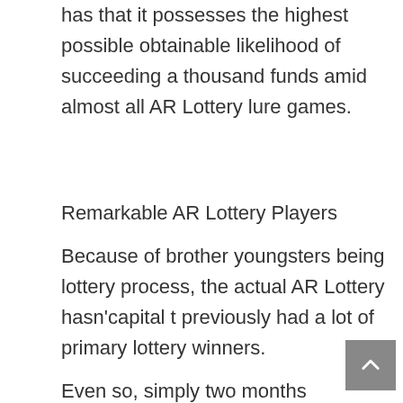has that it possesses the highest possible obtainable likelihood of succeeding a thousand funds amid almost all AR Lottery lure games.
Remarkable AR Lottery Players
Because of brother youngsters being lottery process, the actual AR Lottery hasn'capital t previously had a lot of primary lottery winners.
Even so, simply two months following on from the AR Lottery developed selling Powerball lottery tickets throughout March associated with 2009, a person privileged man or women claimed some sort of $25 million Powerball jackpot. The idea looks like a person have their very own Wyoming